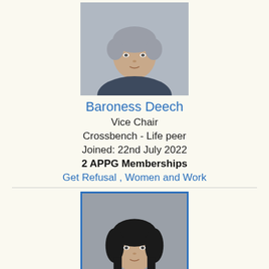[Figure (photo): Portrait photo of Baroness Deech, older woman with short gray hair, wearing dark blue jacket, gray background]
Baroness Deech
Vice Chair
Crossbench - Life peer
Joined: 22nd July 2022
2 APPG Memberships
Get Refusal , Women and Work
[Figure (photo): Portrait photo of Theresa Villiers, woman with dark hair, wearing burgundy/red jacket, gray background, blue border]
Theresa Villiers
Vice Chair
Conservative - Chipping Barnet
Joined: 21st November 2018
17 APPG Memberships